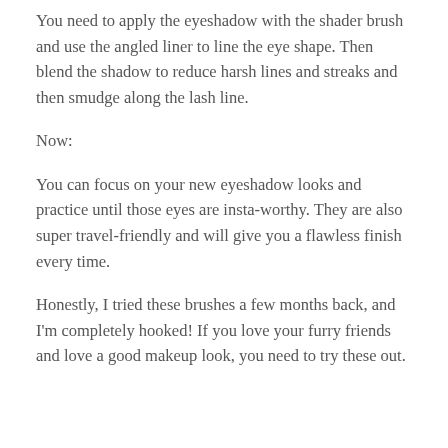You need to apply the eyeshadow with the shader brush and use the angled liner to line the eye shape. Then blend the shadow to reduce harsh lines and streaks and then smudge along the lash line.
Now:
You can focus on your new eyeshadow looks and practice until those eyes are insta-worthy. They are also super travel-friendly and will give you a flawless finish every time.
Honestly, I tried these brushes a few months back, and I'm completely hooked! If you love your furry friends and love a good makeup look, you need to try these out.